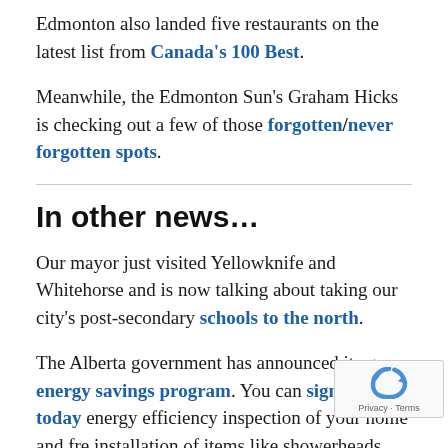Edmonton also landed five restaurants on the latest list from Canada's 100 Best.
Meanwhile, the Edmonton Sun's Graham Hicks is checking out a few of those forgotten/never forgotten spots.
In other news…
Our mayor just visited Yellowknife and Whitehorse and is now talking about taking our city's post-secondary schools to the north.
The Alberta government has announced its green energy savings program. You can sign up today for an energy efficiency inspection of your home and free installation of items like showerheads, lightbulbs and